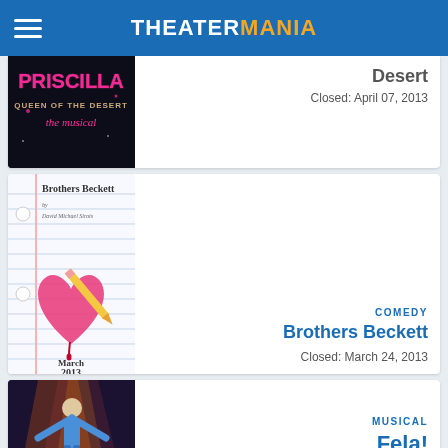THEATERMANIA
[Figure (photo): Priscilla Queen of the Desert the musical - promotional image with pink neon text on black background]
Desert
Closed: April 07, 2013
[Figure (photo): Brothers Beckett - show poster with notebook paper background, heart pierced by pencil, March 2013]
COMEDY
Brothers Beckett
Closed: March 24, 2013
[Figure (photo): Fela! - show photo with performer on stage with colorful lighting]
MUSICAL
Fela!
Closed: March 24, 2013